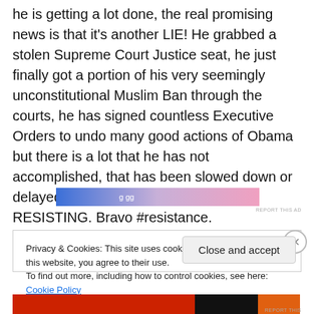he is getting a lot done, the real promising news is that it's another LIE! He grabbed a stolen Supreme Court Justice seat, he just finally got a portion of his very seemingly unconstitutional Muslim Ban through the courts, he has signed countless Executive Orders to undo many good actions of Obama but there is a lot that he has not accomplished, that has been slowed down or delayed or that Americans are just RESISTING. Bravo #resistance.
[Figure (other): Advertisement banner with gradient from blue to pink]
REPORT THIS AD
Privacy & Cookies: This site uses cookies. By continuing to use this website, you agree to their use.
To find out more, including how to control cookies, see here: Cookie Policy
Close and accept
[Figure (other): Advertisement banner at bottom with red, black and orange sections]
REPORT THIS